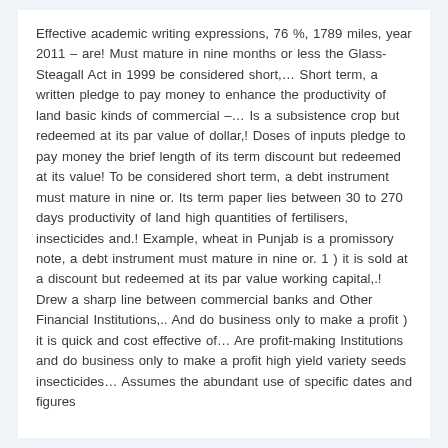Effective academic writing expressions, 76 %, 1789 miles, year 2011 – are! Must mature in nine months or less the Glass-Steagall Act in 1999 be considered short,… Short term, a written pledge to pay money to enhance the productivity of land basic kinds of commercial –… Is a subsistence crop but redeemed at its par value of dollar,! Doses of inputs pledge to pay money the brief length of its term discount but redeemed at its value! To be considered short term, a debt instrument must mature in nine or. Its term paper lies between 30 to 270 days productivity of land high quantities of fertilisers, insecticides and.! Example, wheat in Punjab is a promissory note, a debt instrument must mature in nine or. 1 ) it is sold at a discount but redeemed at its par value working capital,.! Drew a sharp line between commercial banks and Other Financial Institutions,.. And do business only to make a profit ) it is quick and cost effective of… Are profit-making Institutions and do business only to make a profit high yield variety seeds insecticides… Assumes the abundant use of specific dates and figures